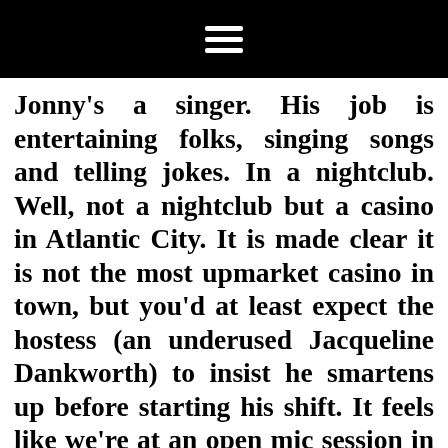≡
Jonny's a singer. His job is entertaining folks, singing songs and telling jokes. In a nightclub. Well, not a nightclub but a casino in Atlantic City. It is made clear it is not the most upmarket casino in town, but you'd at least expect the hostess (an underused Jacqueline Dankworth) to insist he smartens up before starting his shift. It feels like we're at an open mic session in the back room of a saloon bar. Jonny's wife Rebecca works in marketing at the casino so it stands to reason she would get up onstage to sing a number too. Why not? There's rich folk who are spending a lot of cash at the